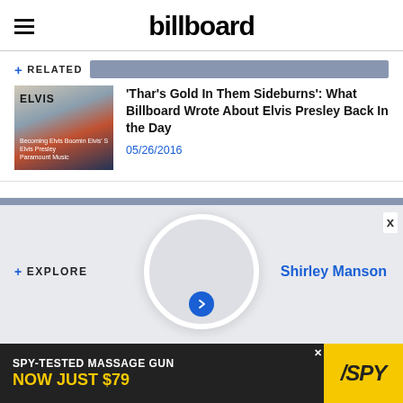billboard
+ RELATED
[Figure (photo): Elvis Presley album cover collage with vintage newspaper cutouts]
'Thar's Gold In Them Sideburns': What Billboard Wrote About Elvis Presley Back In the Day
05/26/2016
+ EXPLORE
Shirley Manson
SEE LATEST VIDEOS, CHARTS AND NEWS
[Figure (infographic): SPY-TESTED MASSAGE GUN NOW JUST $79 advertisement banner]